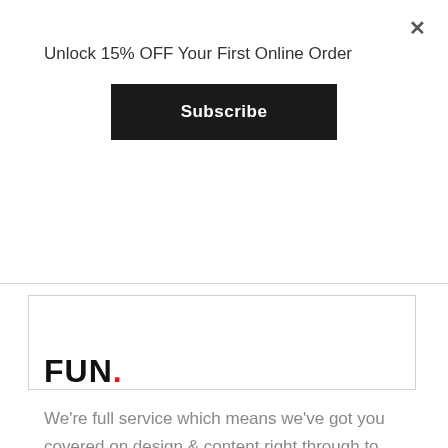×
Unlock 15% OFF Your First Online Order
Subscribe
FUN.
We're full service which means we've got you covered on design & content right through to digital. You'll form a lasting relationship with us, collaboration is central to we do.